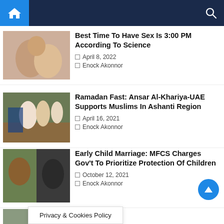Navigation bar with home and search icons
[Figure (photo): Two people kissing with a baby]
Best Time To Have Sex Is 3:00 PM According To Science
April 8, 2022
Enock Akonnor
[Figure (photo): Crowd scene with people in traditional and modern dress]
Ramadan Fast: Ansar Al-Khariya-UAE Supports Muslims In Ashanti Region
April 16, 2021
Enock Akonnor
[Figure (photo): Two men side by side portrait photos]
Early Child Marriage: MFCS Charges Gov't To Prioritize Protection Of Children
October 12, 2021
Enock Akonnor
[Figure (photo): Group of people outdoors, partial view]
ion
Muslims In
Privacy & Cookies Policy